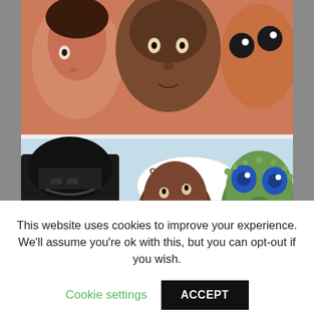[Figure (illustration): Star Wars comic panel meme showing characters including Darth Vader, a bald Black man, and an alien (Greedo), with a speech bubble saying 'CAN ME... ...DO ANYTHING FOR YOU?' Above that is a panel showing faces of several characters with an orange/peach colored background. Watermark reads 'with mematic'.]
when your friends in elementary school dare you to ask a girl out a cess but she's surrounded by h friends
This website uses cookies to improve your experience. We'll assume you're ok with this, but you can opt-out if you wish.
Cookie settings
ACCEPT